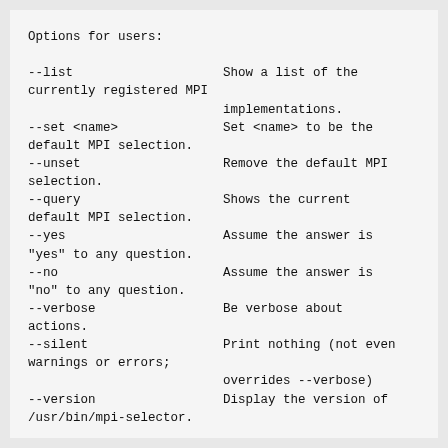Options for users:

--list                    Show a list of the currently registered MPI
                          implementations.
--set <name>              Set <name> to be the default MPI selection.
--unset                   Remove the default MPI selection.
--query                   Shows the current default MPI selection.
--yes                     Assume the answer is "yes" to any question.
--no                      Assume the answer is "no" to any question.
--verbose                 Be verbose about actions.
--silent                  Print nothing (not even warnings or errors;
                          overrides --verbose)
--version                 Display the version of /usr/bin/mpi-selector.